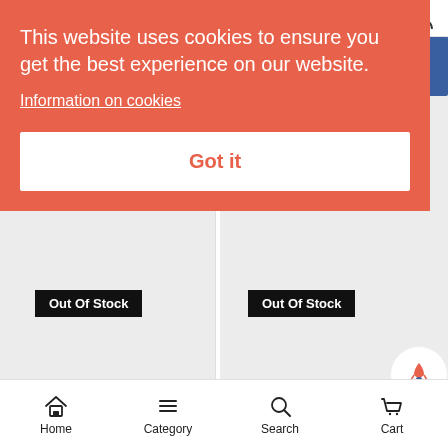[Figure (screenshot): Cookie consent overlay on a mobile e-commerce website (Rocket Health). The overlay has an orange-red background with white text reading 'This website uses cookies to ensure you get the best experience on our website.' followed by an underlined 'Information on cookies' link, and a white 'Got it' button. Behind the overlay are two product cards labeled 'Out Of Stock'. A bottom navigation bar shows Home, Category, Search, and Cart.]
This website uses cookies to ensure you get the best experience on our website.
Information on cookies
Got it
Out Of Stock
Out Of Stock
Home
Category
Search
Cart